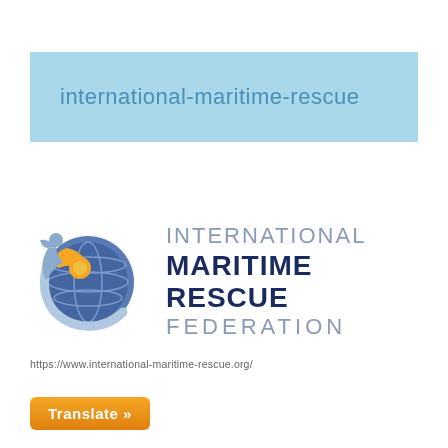international-maritime-rescue
[Figure (logo): International Maritime Rescue Federation logo with globe and human figure graphic, alongside text INTERNATIONAL MARITIME RESCUE FEDERATION]
https://www.international-maritime-rescue.org/
Translate »